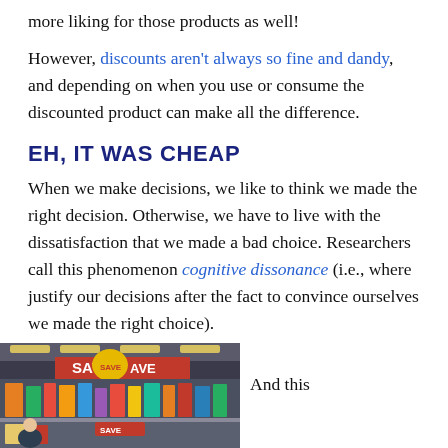more liking for those products as well!
However, discounts aren't always so fine and dandy, and depending on when you use or consume the discounted product can make all the difference.
EH, IT WAS CHEAP
When we make decisions, we like to think we made the right decision. Otherwise, we have to live with the dissatisfaction that we made a bad choice. Researchers call this phenomenon cognitive dissonance (i.e., where justify our decisions after the fact to convince ourselves we made the right choice).
[Figure (photo): Photo of a grocery store aisle with SAVE signs and colorful product displays]
And this